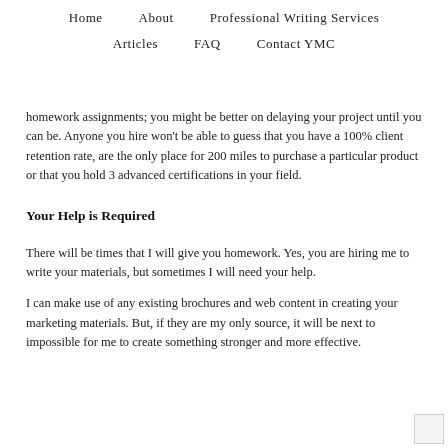Home   About   Professional Writing Services   Articles   FAQ   Contact YMC
homework assignments; you might be better on delaying your project until you can be. Anyone you hire won't be able to guess that you have a 100% client retention rate, are the only place for 200 miles to purchase a particular product or that you hold 3 advanced certifications in your field.
Your Help is Required
There will be times that I will give you homework. Yes, you are hiring me to write your materials, but sometimes I will need your help.
I can make use of any existing brochures and web content in creating your marketing materials. But, if they are my only source, it will be next to impossible for me to create something stronger and more effective.